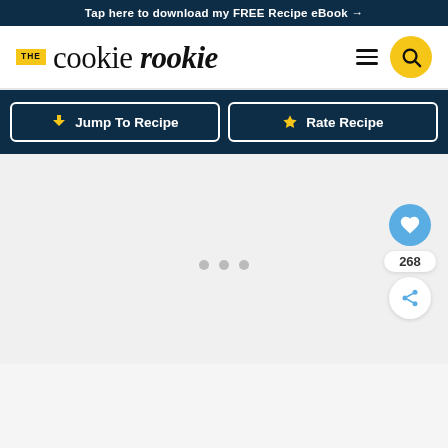Tap here to download my FREE Recipe eBook →
[Figure (logo): The Cookie Rookie logo with yellow THE badge, serif cookie and italic rookie text]
Jump To Recipe
Rate Recipe
[Figure (other): Light gray content area with three gray dots indicating loading state]
268